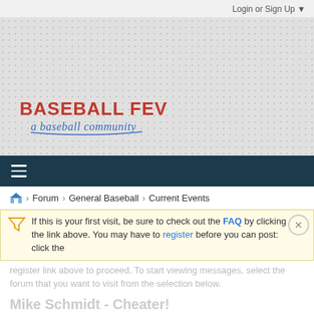Login or Sign Up ▼
[Figure (logo): Baseball Fever logo — red bold text 'BASEBALL FEVER' with blue cursive subtitle 'a baseball community']
≡ (hamburger menu icon)
🏠 › Forum › General Baseball › Current Events
If this is your first visit, be sure to check out the FAQ by clicking the link above. You may have to register before you can post: click the register link above to proceed. To start viewing messages, select the forum that you want to visit from the selection below.
[Figure (infographic): Freestar ad: 'Tailored ad management solutions for every publisher' with LEARN MORE button and illustrated character]
Mike Schmidt - Cheater!